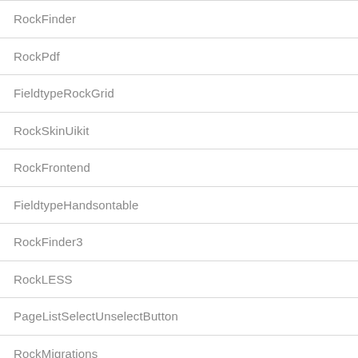RockFinder
RockPdf
FieldtypeRockGrid
RockSkinUikit
RockFrontend
FieldtypeHandsontable
RockFinder3
RockLESS
PageListSelectUnselectButton
RockMigrations